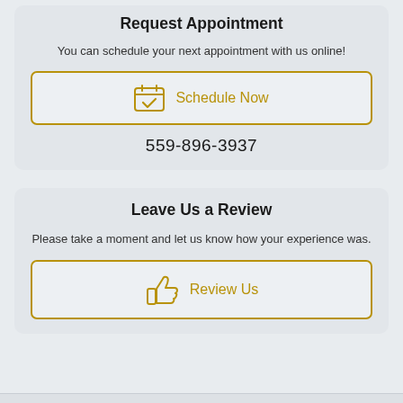Request Appointment
You can schedule your next appointment with us online!
[Figure (illustration): Gold-outlined button with calendar-checkmark icon and text 'Schedule Now']
559-896-3937
Leave Us a Review
Please take a moment and let us know how your experience was.
[Figure (illustration): Gold-outlined button with thumbs-up icon and text 'Review Us']